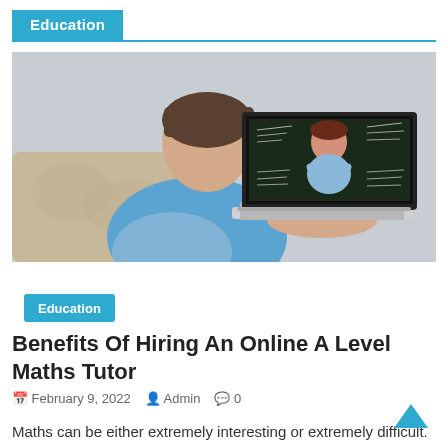Education
[Figure (photo): A student seen from behind sitting on a couch using a laptop, on the laptop screen is a female teacher standing in front of a blackboard with math equations]
Education
Benefits Of Hiring An Online A Level Maths Tutor
February 9, 2022   Admin   0
Maths can be either extremely interesting or extremely difficult. Yet, for students, it can be advantageous to study